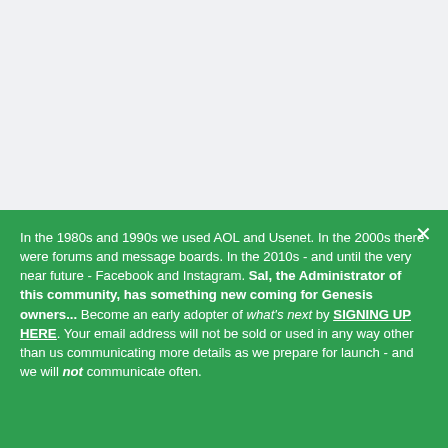[Figure (other): Light grey empty area at the top of the page]
In the 1980s and 1990s we used AOL and Usenet. In the 2000s there were forums and message boards. In the 2010s - and until the very near future - Facebook and Instagram. Sal, the Administrator of this community, has something new coming for Genesis owners... Become an early adopter of what's next by SIGNING UP HERE. Your email address will not be sold or used in any way other than us communicating more details as we prepare for launch - and we will not communicate often.